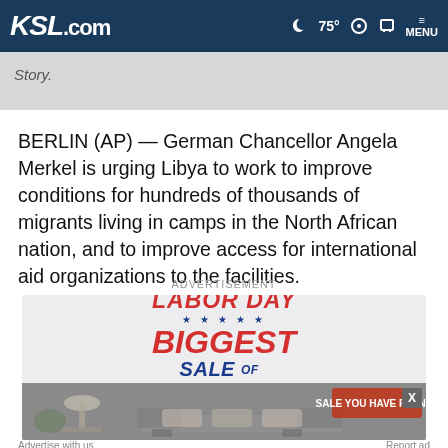KSL.com  75° MENU
Story.
BERLIN (AP) — German Chancellor Angela Merkel is urging Libya to work to improve conditions for hundreds of thousands of migrants living in camps in the North African nation, and to improve access for international aid organizations to the facilities.
ADVERTISEMENT
[Figure (photo): Labor Day Biggest Sale of the Year advertisement banner followed by a photo of furniture (sofa, lamp) in a home setting.]